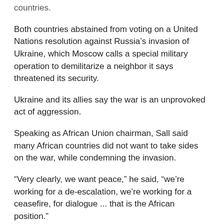countries.
Both countries abstained from voting on a United Nations resolution against Russia's invasion of Ukraine, which Moscow calls a special military operation to demilitarize a neighbor it says threatened its security.
Ukraine and its allies say the war is an unprovoked act of aggression.
Speaking as African Union chairman, Sall said many African countries did not want to take sides on the war, while condemning the invasion.
“Very clearly, we want peace,” he said, “we’re working for a de-escalation, we’re working for a ceasefire, for dialogue ... that is the African position.”
Sal said he would visit Moscow and Kyiv in the coming weeks.
The conflict in Ukraine, a major grains and food supplier, has triggered supply disruptions that have pushed up food